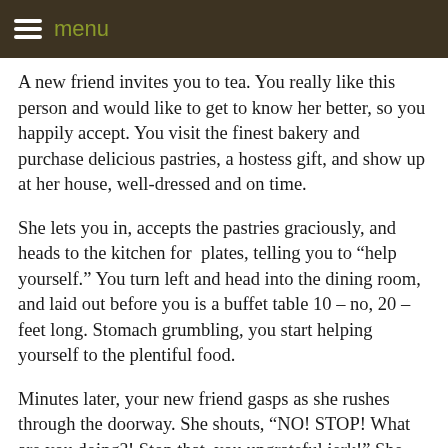menu
A new friend invites you to tea. You really like this person and would like to get to know her better, so you happily accept. You visit the finest bakery and purchase delicious pastries, a hostess gift, and show up at her house, well-dressed and on time.
She lets you in, accepts the pastries graciously, and heads to the kitchen for  plates, telling you to “help yourself.” You turn left and head into the dining room, and laid out before you is a buffet table 10 – no, 20 – feet long. Stomach grumbling, you start helping yourself to the plentiful food.
Minutes later, your new friend gasps as she rushes through the doorway. She shouts, “NO! STOP! What are you doing?! Stop that, you ungrateful jerk!” She grabs a newspaper off the side table, rolls it up, and whacks you across the nose, saying, “BAD! BAD!” She grabs you by the shirt collar and drags you